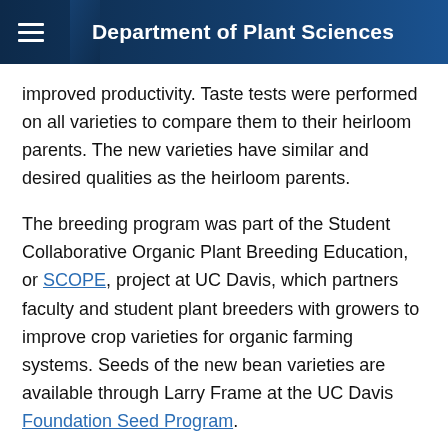Department of Plant Sciences
improved productivity. Taste tests were performed on all varieties to compare them to their heirloom parents. The new varieties have similar and desired qualities as the heirloom parents.
The breeding program was part of the Student Collaborative Organic Plant Breeding Education, or SCOPE, project at UC Davis, which partners faculty and student plant breeders with growers to improve crop varieties for organic farming systems. Seeds of the new bean varieties are available through Larry Frame at the UC Davis Foundation Seed Program.
Research support for this project came from Lundberg Family Farm and the Clif Bar Family Foundation. The breeding project also had support from the USDA Organic